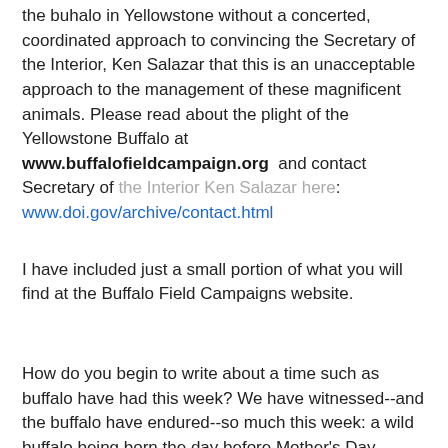the buhalo in Yellowstone without a concerted, coordinated approach to convincing the Secretary of the Interior, Ken Salazar that this is an unacceptable approach to the management of these magnificent animals. Please read about the plight of the Yellowstone Buffalo at www.buffalofieldcampaign.org  and contact Secretary of the Interior Ken Salazar here: www.doi.gov/archive/contact.html
I have included just a small portion of what you will find at the Buffalo Field Campaigns website.
How do you begin to write about a time such as buffalo have had this week? We have witnessed--and the buffalo have endured--so much this week: a wild buffalo being born the day before Mother's Day, wildlife coming into the world between a fence and a highway; being graced with the gift of a bull buffalo migrating through our yard. Before the week is over, a total of 600 buffalo will have been needlessly and aggressively forced off of their chosen ground in Montana...